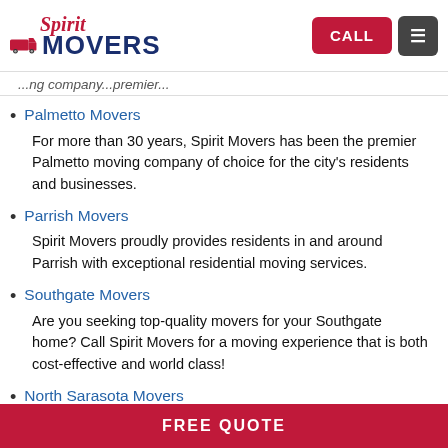Spirit Movers | CALL | Menu
...moving company...premier...
Palmetto Movers — For more than 30 years, Spirit Movers has been the premier Palmetto moving company of choice for the city's residents and businesses.
Parrish Movers — Spirit Movers proudly provides residents in and around Parrish with exceptional residential moving services.
Southgate Movers — Are you seeking top-quality movers for your Southgate home? Call Spirit Movers for a moving experience that is both cost-effective and world class!
North Sarasota Movers — Spirit Movers is among the top North Sarasota movers, providing local residents with top-quality moving services at affordable rates.
FREE QUOTE